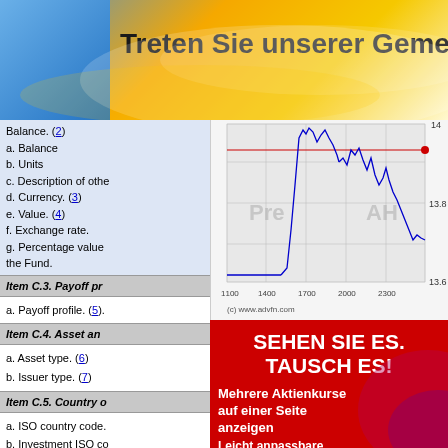[Figure (screenshot): Banner header with blue and gold gradient background and German text 'Treten Sie unserer Gemeinsc...']
Balance. (2)
a. Balance
b. Units
c. Description of othe
d. Currency. (3)
e. Value. (4)
f. Exchange rate.
g. Percentage value the Fund.
[Figure (continuous-plot): Stock price chart from advfn.com showing a blue line chart with price range ~13.6-14, x-axis from 1100 to 2300, watermarks 'Pre' and 'AH', red horizontal line at ~14]
Item C.3. Payoff pr
a. Payoff profile. (5)
Item C.4. Asset an
a. Asset type. (6)
b. Issuer type. (7)
Item C.5. Country o
a. ISO country code.
b. Investment ISO co
Item C.6. Is the inv
[Figure (advertisement): Red advertisement banner with white bold text 'SEHEN SIE ES. TAUSCH ES!' and subtext 'Mehrere Aktienkurse auf einer Seite anzeigen' and 'Leicht anpassbare']